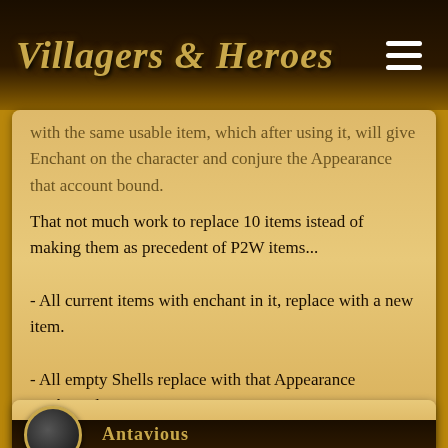Villagers & Heroes
with the same usable item, which after using it, will give Enchant on the character and conjure the Appearance that account bound.
That not much work to replace 10 items istead of making them as precedent of P2W items...
- All current items with enchant in it, replace with a new item.
- All empty Shells replace with that Appearance acc.bound item.
😠 x1   Antavious
Antavious